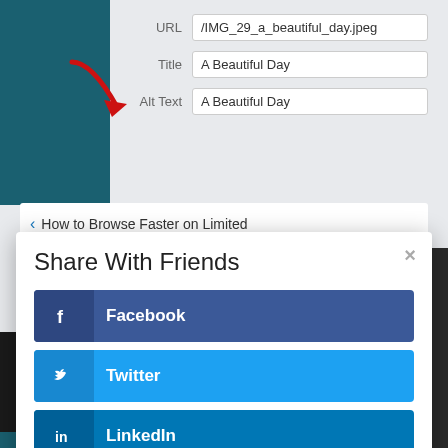[Figure (screenshot): Form fields showing URL '/IMG_29_a_beautiful_day.jpeg', Title 'A Beautiful Day', Alt Text 'A Beautiful Day', with a red arrow pointing to Alt Text field]
‹ How to Browse Faster on Limited
Share With Friends
Facebook
Twitter
LinkedIn
Gmail